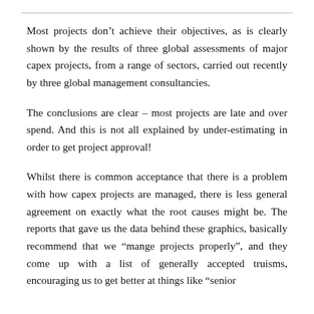Most projects don't achieve their objectives, as is clearly shown by the results of three global assessments of major capex projects, from a range of sectors, carried out recently by three global management consultancies.
The conclusions are clear – most projects are late and over spend. And this is not all explained by under-estimating in order to get project approval!
Whilst there is common acceptance that there is a problem with how capex projects are managed, there is less general agreement on exactly what the root causes might be. The reports that gave us the data behind these graphics, basically recommend that we “mange projects properly”, and they come up with a list of generally accepted truisms, encouraging us to get better at things like “senior